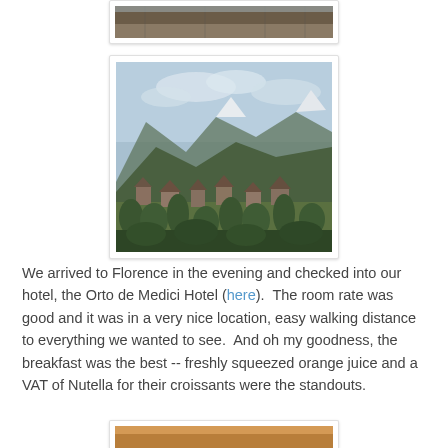[Figure (photo): Partial top view of a building with wooden/tiled roof structure, cropped at top of frame]
[Figure (photo): Scenic landscape photo showing an Alpine/Italian village with green trees, houses, and mountains with snow-capped peaks under a partly cloudy sky]
We arrived to Florence in the evening and checked into our hotel, the Orto de Medici Hotel (here).  The room rate was good and it was in a very nice location, easy walking distance to everything we wanted to see.  And oh my goodness, the breakfast was the best -- freshly squeezed orange juice and a VAT of Nutella for their croissants were the standouts.
[Figure (photo): Partial photo at bottom, showing warm brownish/tan color, likely interior or food photo, cropped]